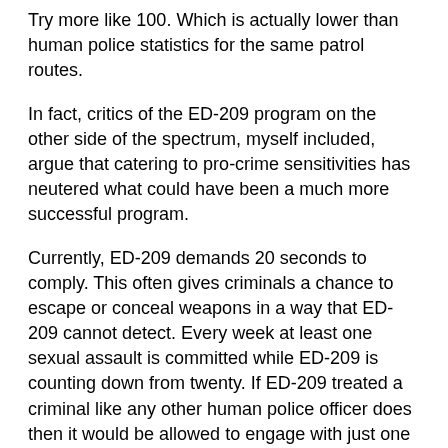Try more like 100. Which is actually lower than human police statistics for the same patrol routes.
In fact, critics of the ED-209 program on the other side of the spectrum, myself included, argue that catering to pro-crime sensitivities has neutered what could have been a much more successful program.
Currently, ED-209 demands 20 seconds to comply. This often gives criminals a chance to escape or conceal weapons in a way that ED-209 cannot detect. Every week at least one sexual assault is committed while ED-209 is counting down from twenty. If ED-209 treated a criminal like any other human police officer does then it would be allowed to engage with just one second to comply. Long enough to blurt out the warning, "Drop it!" before firing its dual cannons and launching rockets.
[Figure (photo): A scene showing large robotic machinery (ED-209) in an office setting with people in the background]
How many mothers are we going to allow to be killed by Nuke junkies in the ghetto just to appease the emotional appeals of drama-merchants? The statistics don't lie. When